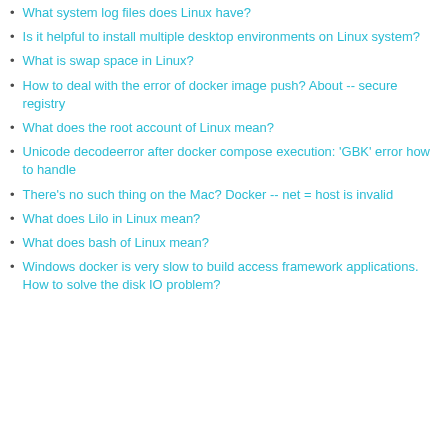What system log files does Linux have?
Is it helpful to install multiple desktop environments on Linux system?
What is swap space in Linux?
How to deal with the error of docker image push? About -- secure registry
What does the root account of Linux mean?
Unicode decodeerror after docker compose execution: 'GBK' error how to handle
There's no such thing on the Mac? Docker -- net = host is invalid
What does Lilo in Linux mean?
What does bash of Linux mean?
Windows docker is very slow to build access framework applications. How to solve the disk IO problem?